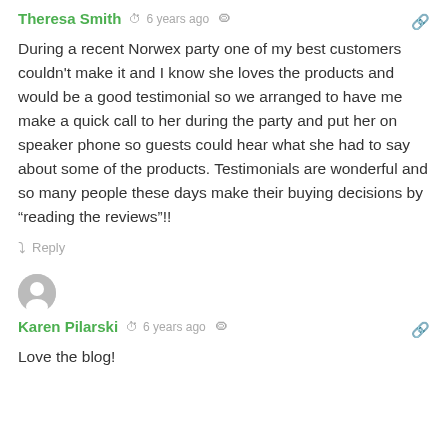Theresa Smith · 6 years ago
During a recent Norwex party one of my best customers couldn't make it and I know she loves the products and would be a good testimonial so we arranged to have me make a quick call to her during the party and put her on speaker phone so guests could hear what she had to say about some of the products. Testimonials are wonderful and so many people these days make their buying decisions by "reading the reviews"!!
Reply
[Figure (illustration): Gray circular avatar icon for user Karen Pilarski]
Karen Pilarski · 6 years ago
Love the blog!